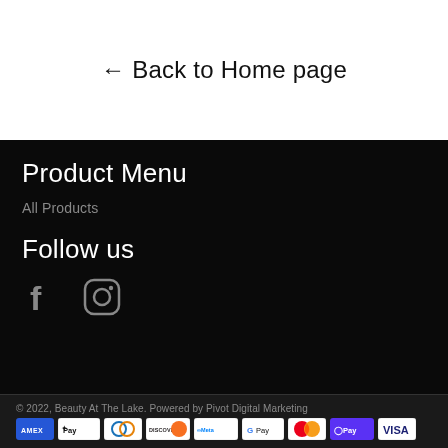← Back to Home page
Product Menu
All Products
Follow us
[Figure (other): Social media icons: Facebook and Instagram]
© 2022, Beauty At The Lake. Powered by Pivot Digital Marketing
[Figure (other): Payment method icons: Amex, Apple Pay, Diners Club, Discover, Meta Pay, Google Pay, Mastercard, Shop Pay, Visa]